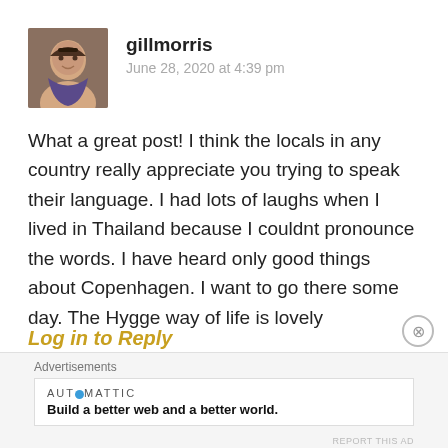[Figure (photo): Profile photo of gillmorris, a woman smiling outdoors]
gillmorris
June 28, 2020 at 4:39 pm
What a great post! I think the locals in any country really appreciate you trying to speak their language. I had lots of laughs when I lived in Thailand because I couldnt pronounce the words. I have heard only good things about Copenhagen. I want to go there some day. The Hygge way of life is lovely
Liked by 1 person
Log in to Reply
Advertisements
AUTOMATTIC
Build a better web and a better world.